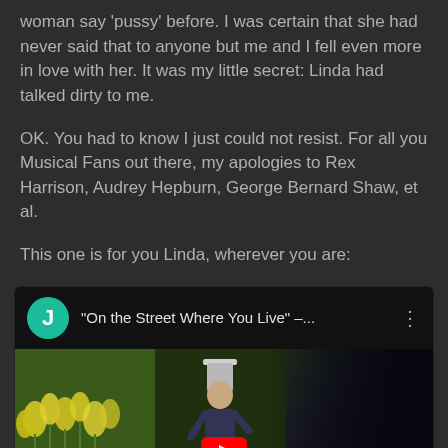woman say 'pussy' before. I was certain that she had never said that to anyone but me and I fell even more in love with her. It was my little secret: Linda had talked dirty to me.
OK. You had to know I just could not resist. For all you Musical Fans out there, my apologies to Rex Harrison, Audrey Hepburn, George Bernard Shaw, et al.
This one is for you Linda, wherever you are:
[Figure (screenshot): YouTube video card with teal avatar showing letter J, video title 'On the Street Where You Live' - ..., three-dot menu icon, and a thumbnail showing a man in a top hat with yellow flowers on the left side and dark cityscape on the right, with a red YouTube play button at the bottom center.]